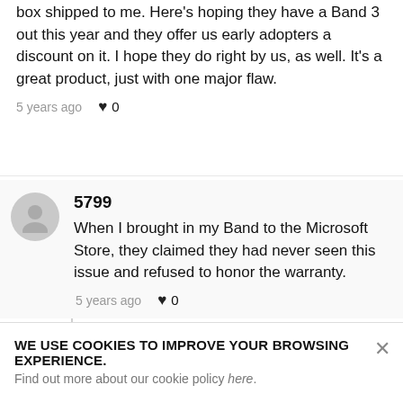box shipped to me. Here's hoping they have a Band 3 out this year and they offer us early adopters a discount on it. I hope they do right by us, as well. It's a great product, just with one major flaw.
5 years ago  ♥ 0
5799
When I brought in my Band to the Microsoft Store, they claimed they had never seen this issue and refused to honor the warranty.
5 years ago  ♥ 0
838
Premium
WE USE COOKIES TO IMPROVE YOUR BROWSING EXPERIENCE.
Find out more about our cookie policy here.